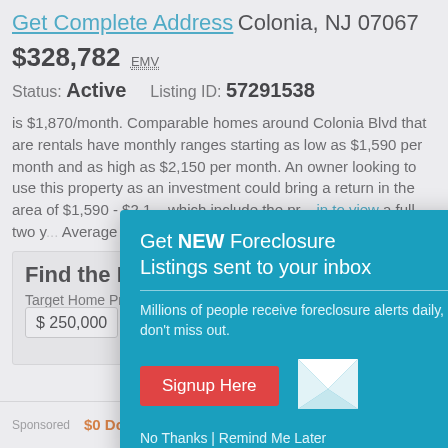Get Complete Address Colonia, NJ 07067
$328,782 EMV
Status: Active   Listing ID: 57291538
is $1,870/month. Comparable homes around Colonia Blvd that are rentals have monthly ranges starting as low as $1,590 per month and as high as $2,150 per month. An owner looking to use this property as an investment could bring a return in the area of $1,590 - $2,1... which include the pr... in to view a full two y... Average Market Valu...
Find the Be...
Target Home Price
$ 250,000
Add More Details ∨
Sponsored   $0 Down VA Loan for Veterans
[Figure (screenshot): Popup modal overlay: Get NEW Foreclosure Listings sent to your inbox. Millions of people receive foreclosure alerts daily, don't miss out. Signup Here button. No Thanks | Remind Me Later. Mail envelope icon. Blue background.]